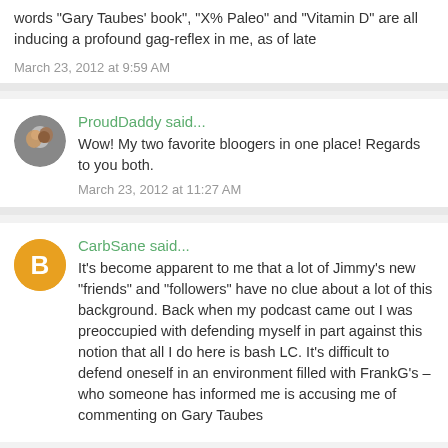words "Gary Taubes' book", "X% Paleo" and "Vitamin D" are all inducing a profound gag-reflex in me, as of late
March 23, 2012 at 9:59 AM
ProudDaddy said...
Wow! My two favorite bloogers in one place! Regards to you both.
March 23, 2012 at 11:27 AM
CarbSane said...
It's become apparent to me that a lot of Jimmy's new "friends" and "followers" have no clue about a lot of this background. Back when my podcast came out I was preoccupied with defending myself in part against this notion that all I do here is bash LC. It's difficult to defend oneself in an environment filled with FrankG's – who someone has informed me is accusing me of commenting on Gary Taubes